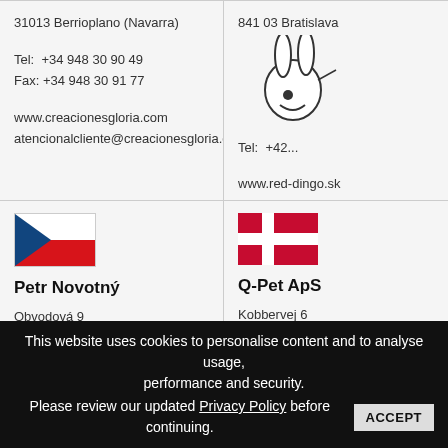31013 Berrioplano (Navarra)
841 03 Bratislava
Tel:  +34 948 30 90 49
Fax: +34 948 30 91 77

www.creacionesgloria.com
atencionalcliente@creacionesgloria.com
Tel:  +42...

www.red-dingo.sk
obchod@red-dingo.s...
[Figure (illustration): Czech Republic flag SVG]
Petr Novotný

Obvodová 9
19000 Praha 9

Tel:  +420 777 324 428
[Figure (illustration): Denmark flag SVG]
Q-Pet ApS

Kobbervej 6
DK-6000 Kolding

Tel:  +45 63 13 10 1...
This website uses cookies to personalise content and to analyse usage, performance and security.
Please review our updated Privacy Policy before continuing.